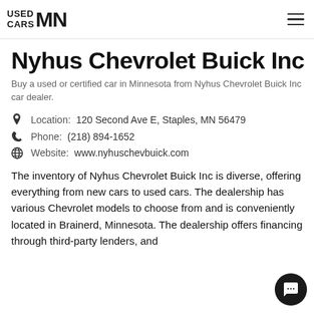USED CARS MN
Nyhus Chevrolet Buick Inc
Buy a used or certified car in Minnesota from Nyhus Chevrolet Buick Inc car dealer.
Location: 120 Second Ave E, Staples, MN 56479
Phone: (218) 894-1652
Website: www.nyhuschevbuick.com
The inventory of Nyhus Chevrolet Buick Inc is diverse, offering everything from new cars to used cars. The dealership has various Chevrolet models to choose from and is conveniently located in Brainerd, Minnesota. The dealership offers financing through third-party lenders, and